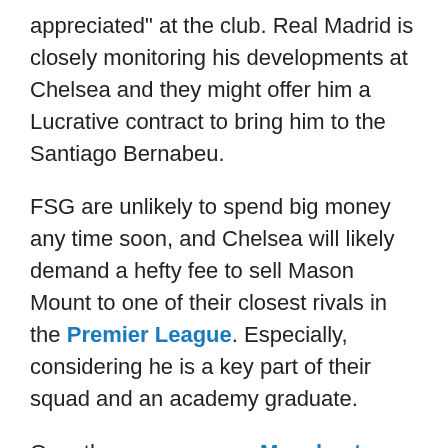appreciated" at the club. Real Madrid is closely monitoring his developments at Chelsea and they might offer him a Lucrative contract to bring him to the Santiago Bernabeu.
FSG are unlikely to spend big money any time soon, and Chelsea will likely demand a hefty fee to sell Mason Mount to one of their closest rivals in the Premier League. Especially, considering he is a key part of their squad and an academy graduate.
Over the summer even Manchester City with all their financial might struggle to sign from a direct Premier League rival. Liverpool will run into similar problems over any transfer for Mount, so there is no point in entertaining the idea.
WILL MASON MOUNT TAKE THE NEXT STEP FORWARD IN HIS CAREER BY